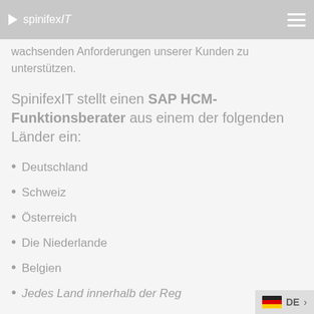spinifexIT
wachsenden Anforderungen unserer Kunden zu unterstützen.
SpinifexIT stellt einen SAP HCM-Funktionsberater aus einem der folgenden Länder ein:
Deutschland
Schweiz
Österreich
Die Niederlande
Belgien
Jedes Land innerhalb der Reg…
DE